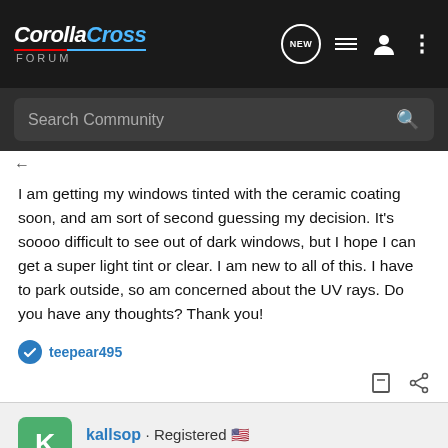CorollaCross FORUM
Search Community
I am getting my windows tinted with the ceramic coating soon, and am sort of second guessing my decision. It's soooo difficult to see out of dark windows, but I hope I can get a super light tint or clear. I am new to all of this. I have to park outside, so am concerned about the UV rays. Do you have any thoughts? Thank you!
teepear495
kallsop · Registered 🇺🇸
Joined Jul 11, 2022 · 17 Posts
#15 · Jul 26, 2022